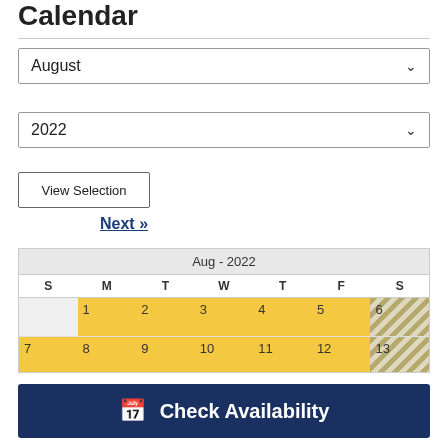Calendar
August (dropdown)
2022 (dropdown)
View Selection
Next »
| S | M | T | W | T | F | S |
| --- | --- | --- | --- | --- | --- | --- |
|  | 1 | 2 | 3 | 4 | 5 | 6 |
| 7 | 8 | 9 | 10 | 11 | 12 | 13 |
| 14 | 15 | 16 | 17 | 18 | 19 | 20 |
| 21 | 22 | 23 | 24 | 25 | 26 | 27 |
Check Availability